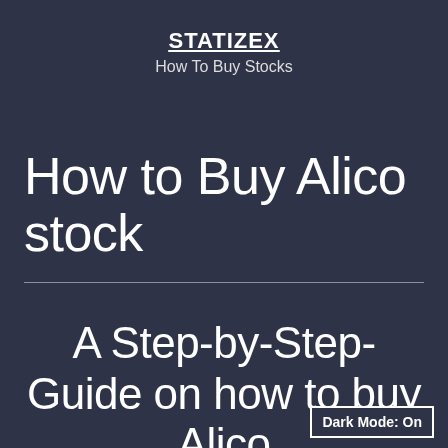STATIZEX
How To Buy Stocks
How to Buy Alico stock
A Step-by-Step-Guide on how to buy Alico
Dark Mode: On